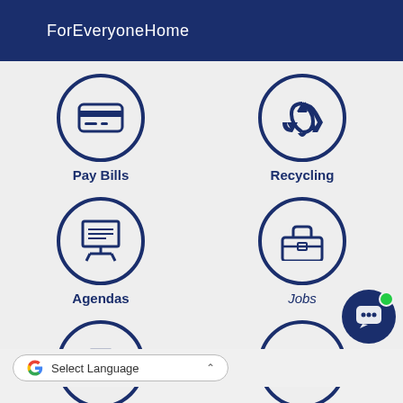ForEveryoneHome
[Figure (infographic): Six circular icon buttons arranged in a 2x3 grid: Pay Bills (credit card icon), Recycling (recycle arrows icon), Agendas (presentation board icon), Jobs (toolbox icon), unnamed (armchair icon), 311 CityLink (text 311 inside circle)]
[Figure (other): Google Translate Select Language dropdown widget]
[Figure (other): Chat bubble button with green online indicator dot]